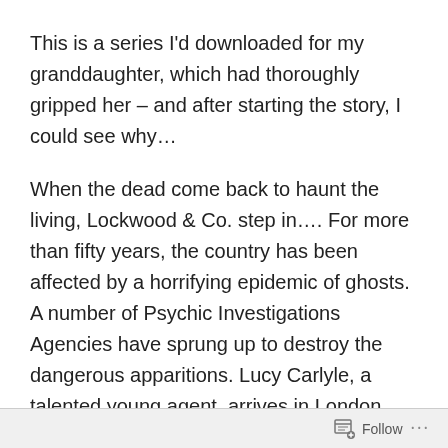This is a series I'd downloaded for my granddaughter, which had thoroughly gripped her – and after starting the story, I could see why…
When the dead come back to haunt the living, Lockwood & Co. step in…. For more than fifty years, the country has been affected by a horrifying epidemic of ghosts. A number of Psychic Investigations Agencies have sprung up to destroy the dangerous apparitions. Lucy Carlyle, a talented young agent, arrives in London hoping for a notable career. Instead she finds herself joining the smallest most ramshackle agency in the city, run by the charismatic Anthony Lockwood. When one of their cases goes horribly wrong, Lockwood & Co. have one last chance of redemption. Unfortunately this involves
Follow ···